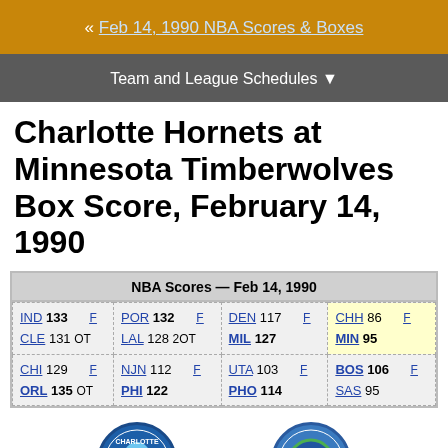« Feb 14, 1990 NBA Scores & Boxes
Team and League Schedules ▼
Charlotte Hornets at Minnesota Timberwolves Box Score, February 14, 1990
| NBA Scores — Feb 14, 1990 |
| --- |
| IND 133 F | POR 132 F | DEN 117 F | CHH 86 F |
| CLE 131 OT | LAL 128 2OT | MIL 127 | MIN 95 |
| CHI 129 F | NJN 112 F | UTA 103 F | BOS 106 F |
| ORL 135 OT | PHI 122 | PHO 114 | SAS 95 |
[Figure (logo): Charlotte Hornets logo]
[Figure (logo): Minnesota Timberwolves logo]